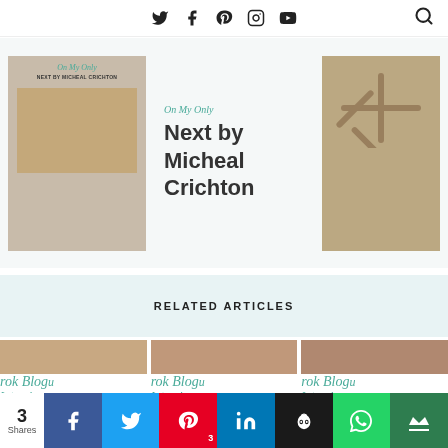Social icons: Twitter, Facebook, Pinterest, Instagram, YouTube, Search
[Figure (illustration): Book card showing Next by Micheal Crichton with two images on left and right]
Next by Micheal Crichton
RELATED ARTICLES
[Figure (illustration): Three related article cards showing Book Blog Interview snippets for Sophie's R, See Sadie B, and Chasing Di]
ES FROM SOPHIE'S R
IE FROM SEE SADIE B
EY FROM CHASING DI
3 Shares — Share bar with Facebook, Twitter, Pinterest (3), LinkedIn, Owlly, WhatsApp, Crown